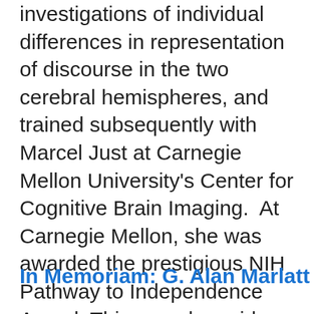investigations of individual differences in representation of discourse in the two cerebral hemispheres, and trained subsequently with Marcel Just at Carnegie Mellon University's Center for Cognitive Brain Imaging.  At Carnegie Mellon, she was awarded the prestigious NIH Pathway to Independence Award. This award provides two-years of postdoctoral funding and three years of principal investigator funding for new faculty. In addition, Chantel was recently awarded the Society for Text and Discourse's Tom Trabasso Young Investigator Award for 2011. We are fortunate to have her join our Department.
In Memoriam: G. Alan Marlatt